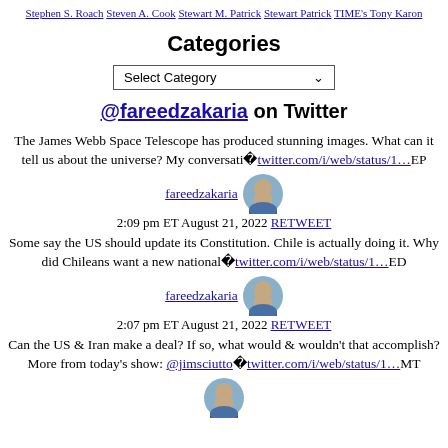Stephen S. Roach  Steven A. Cook  Stewart M. Patrick  Stewart Patrick  TIME's Tony Karon
Categories
Select Category
@fareedzakaria on Twitter
The James Webb Space Telescope has produced stunning images. What can it tell us about the universe? My conversati�twitter.com/i/web/status/1…EP
fareedzakaria
2:09 pm ET August 21, 2022 RETWEET
Some say the US should update its Constitution. Chile is actually doing it. Why did Chileans want a new national�twitter.com/i/web/status/1…ED
fareedzakaria
2:07 pm ET August 21, 2022 RETWEET
Can the US & Iran make a deal? If so, what would & wouldn't that accomplish? More from today's show: @jimsciutto�twitter.com/i/web/status/1…MT